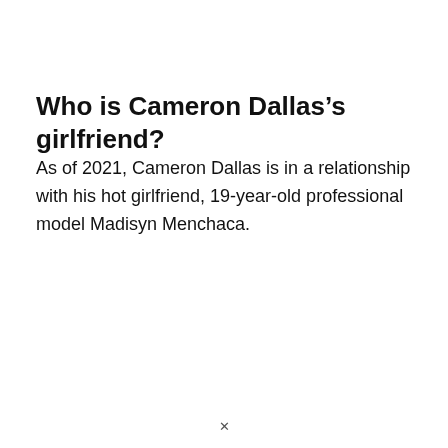Who is Cameron Dallas’s girlfriend?
As of 2021, Cameron Dallas is in a relationship with his hot girlfriend, 19-year-old professional model Madisyn Menchaca.